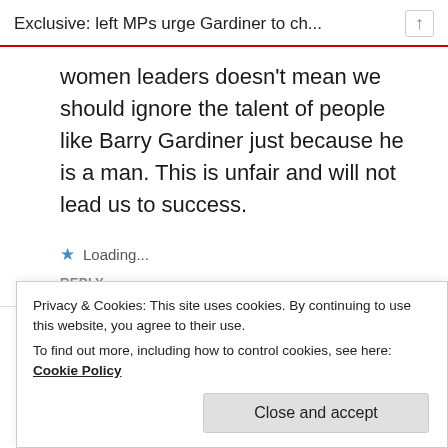Exclusive: left MPs urge Gardiner to ch...
women leaders doesn't mean we should ignore the talent of people like Barry Gardiner just because he is a man. This is unfair and will not lead us to success.
★ Loading...
REPLY
The Toffee (597)   06/10/2021 AT 7:47 AM
Privacy & Cookies: This site uses cookies. By continuing to use this website, you agree to their use.
To find out more, including how to control cookies, see here: Cookie Policy
Close and accept